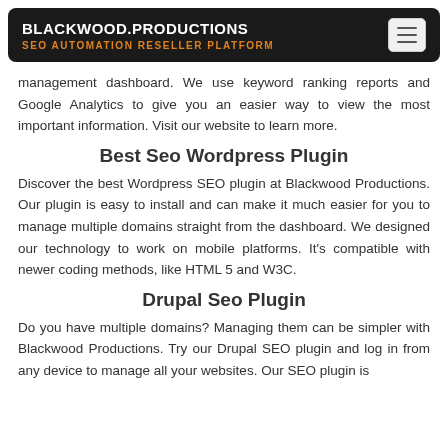BLACKWOOD.PRODUCTIONS | SEO AUTOMATION RESELLER PLATFORM
management dashboard. We use keyword ranking reports and Google Analytics to give you an easier way to view the most important information. Visit our website to learn more.
Best Seo Wordpress Plugin
Discover the best Wordpress SEO plugin at Blackwood Productions. Our plugin is easy to install and can make it much easier for you to manage multiple domains straight from the dashboard. We designed our technology to work on mobile platforms. It's compatible with newer coding methods, like HTML 5 and W3C.
Drupal Seo Plugin
Do you have multiple domains? Managing them can be simpler with Blackwood Productions. Try our Drupal SEO plugin and log in from any device to manage all your websites. Our SEO plugin is